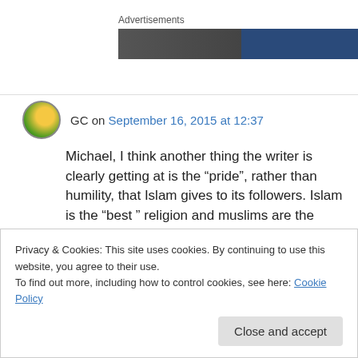Advertisements
[Figure (photo): Advertisement banner image with dark gradient background]
GC on September 16, 2015 at 12:37
Michael, I think another thing the writer is clearly getting at is the “pride”, rather than humility, that Islam gives to its followers. Islam is the “best ” religion and muslims are the “best” people them.
Privacy & Cookies: This site uses cookies. By continuing to use this website, you agree to their use.
To find out more, including how to control cookies, see here: Cookie Policy